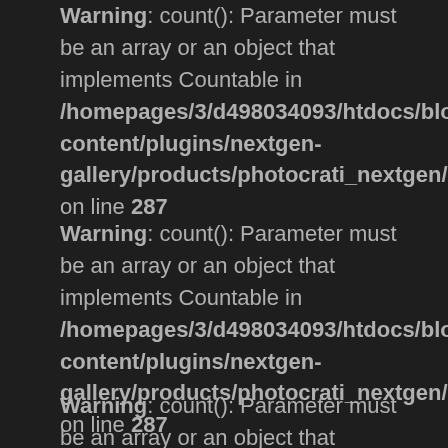Warning: count(): Parameter must be an array or an object that implements Countable in /homepages/3/d498034093/htdocs/bloc/wp-content/plugins/nextgen-gallery/products/photocrati_nextgen/modules/fs/cl on line 287
Warning: count(): Parameter must be an array or an object that implements Countable in /homepages/3/d498034093/htdocs/bloc/wp-content/plugins/nextgen-gallery/products/photocrati_nextgen/modules/fs/cl on line 287
Warning: count(): Parameter must be an array or an object that implements Countable in